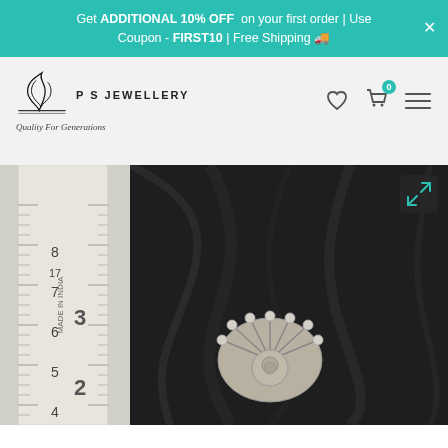Get ADDITIONAL 10% OFF on your first order | Use Coupon - FIRST10 | Free Shipping 🚚
[Figure (logo): PS Jewellery logo with decorative swirl icon, text 'P S Jewellery' and tagline 'Quality For Generations']
[Figure (photo): Close-up photo of a silver jewellery piece (ornate ring/brooch with peacock fan design and studded stones) placed next to a ruler showing approximately 2-3cm size, on a dark fabric background. An expand/fullscreen icon is visible in the top-right corner of the image.]